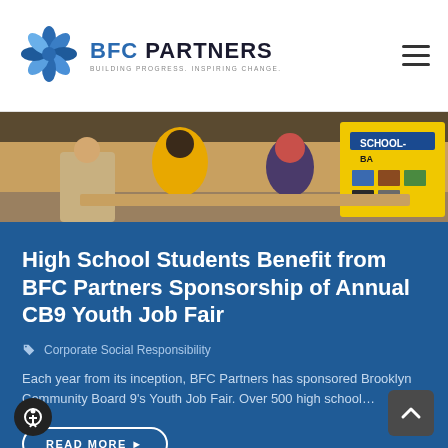BFC PARTNERS — Building Progress. Inspiring Change.
[Figure (photo): Photo of students at a job fair booth with yellow shirts and a blue display board labeled SCHOOL-BA]
High School Students Benefit from BFC Partners Sponsorship of Annual CB9 Youth Job Fair
Corporate Social Responsibility
Each year from its inception, BFC Partners has sponsored Brooklyn Community Board 9's Youth Job Fair. Over 500 high school…
READ MORE ▶